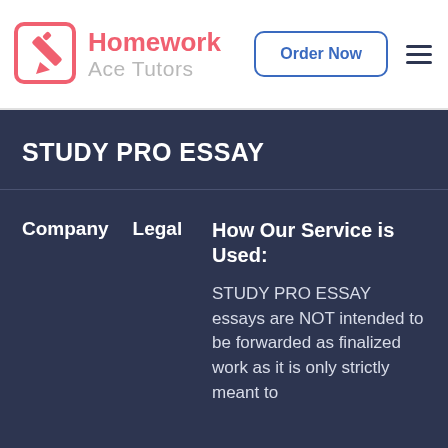[Figure (logo): Homework Ace Tutors logo with pencil-and-paper icon in pink/red, text 'Homework' in pink bold and 'Ace Tutors' in gray]
Order Now
STUDY PRO ESSAY
Company   Legal
How Our Service is Used:
STUDY PRO ESSAY essays are NOT intended to be forwarded as finalized work as it is only strictly meant to